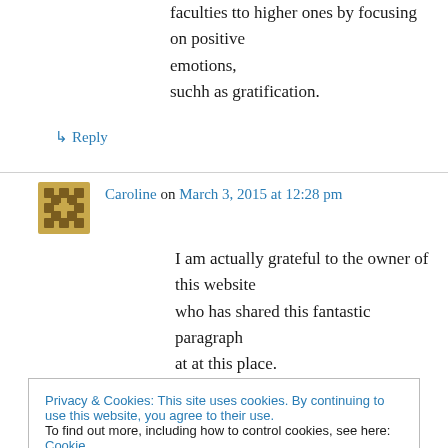faculties tto higher ones by focusing on positive emotions,
suchh as gratification.
↳ Reply
Caroline on March 3, 2015 at 12:28 pm
I am actually grateful to the owner of this website who has shared this fantastic paragraph at at this place.
Privacy & Cookies: This site uses cookies. By continuing to use this website, you agree to their use.
To find out more, including how to control cookies, see here: Cookie Policy
Close and accept
The message from this fantastic book is not to